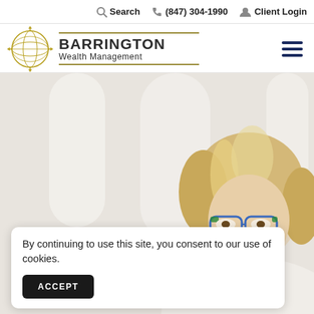Search  (847) 304-1990  Client Login
[Figure (logo): Barrington Wealth Management logo with globe icon, gold horizontal lines, bold company name and subtitle]
[Figure (photo): Middle-aged woman with blonde hair and blue/green glasses looking down, blurred light background]
By continuing to use this site, you consent to our use of cookies.
ACCEPT